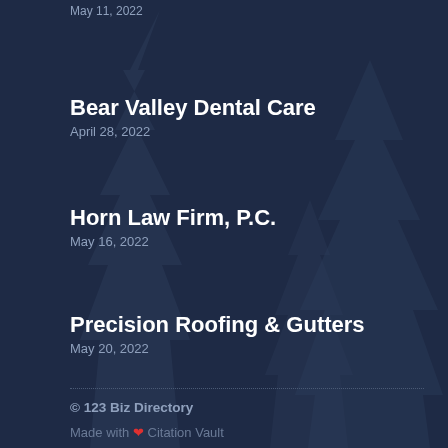May 11, 2022
Bear Valley Dental Care
April 28, 2022
Horn Law Firm, P.C.
May 16, 2022
Precision Roofing & Gutters
May 20, 2022
© 123 Biz Directory
Made with ❤ Citation Vault